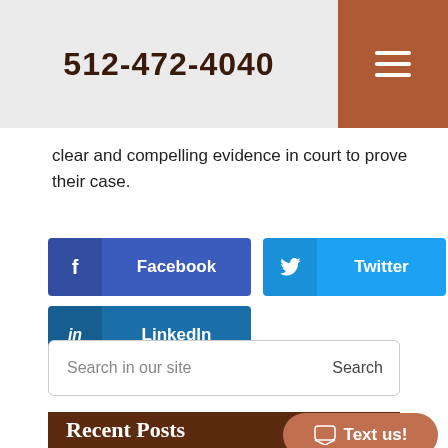512-472-4040
clear and compelling evidence in court to prove their case.
[Figure (screenshot): Facebook, Twitter, and LinkedIn social share buttons]
[Figure (screenshot): Search bar with 'Search in our site' placeholder and 'Search' button]
Recent Posts